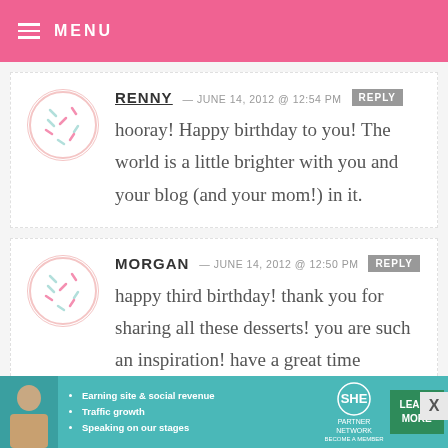MENU
RENNY — JUNE 14, 2012 @ 12:54 PM  REPLY
hooray! Happy birthday to you! The world is a little brighter with you and your blog (and your mom!) in it.
MORGAN — JUNE 14, 2012 @ 12:50 PM  REPLY
happy third birthday! thank you for sharing all these desserts! you are such an inspiration! have a great time celebrating with your mother!
[Figure (infographic): SHE Partner Network advertisement banner with bullet points: Earning site & social revenue, Traffic growth, Speaking on our stages. Includes LEARN MORE button.]